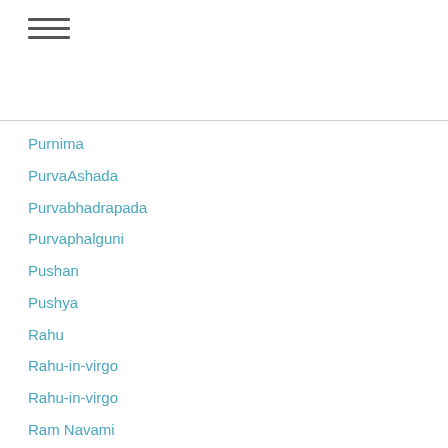☰ (hamburger menu icon)
Purnima
PurvaAshada
Purvabhadrapada
Purvaphalguni
Pushan
Pushya
Rahu
Rahu-in-virgo
Rahu-in-virgo
Ram Navami
Rasi
Recipes
Relationships
Resiliency
Resources
Retrogradejupiter
Retrograde Jupiter
Retrograde Mars